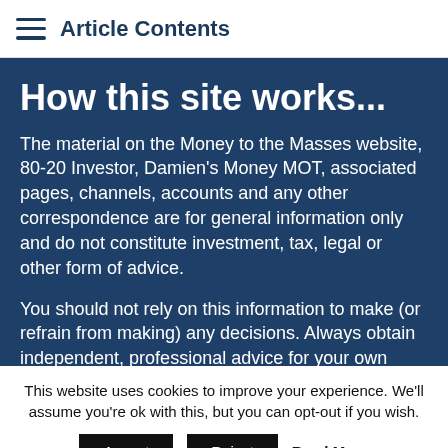Article Contents
How this site works...
The material on the Money to the Masses website, 80-20 Investor, Damien's Money MOT, associated pages, channels, accounts and any other correspondence are for general information only and do not constitute investment, tax, legal or other form of advice.
You should not rely on this information to make (or refrain from making) any decisions. Always obtain independent, professional advice for your own
This website uses cookies to improve your experience. We'll assume you're ok with this, but you can opt-out if you wish.
Accept   Reject   Read More